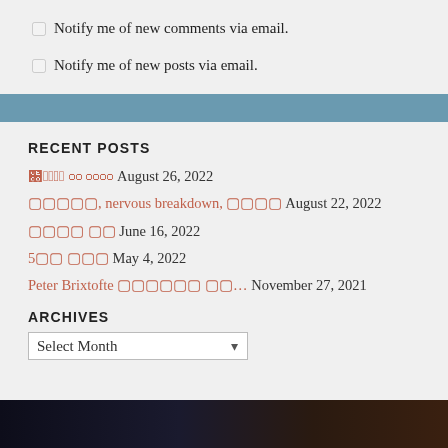Notify me of new comments via email.
Notify me of new posts via email.
RECENT POSTS
. August 26, 2022
, nervous breakdown,      August 22, 2022
June 16, 2022
5       May 4, 2022
Peter Brixtofte          ... November 27, 2021
ARCHIVES
Select Month